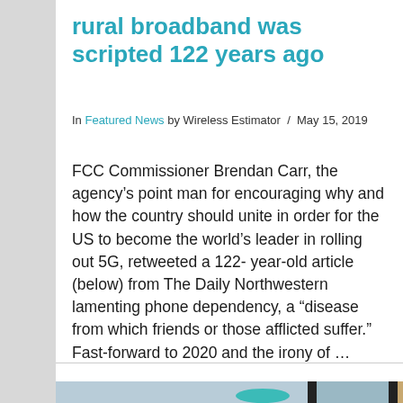rural broadband was scripted 122 years ago
In Featured News by Wireless Estimator / May 15, 2019
FCC Commissioner Brendan Carr, the agency’s point man for encouraging why and how the country should unite in order for the US to become the world’s leader in rolling out 5G, retweeted a 122- year-old article (below) from The Daily Northwestern lamenting phone dependency, a “disease from which friends or those afflicted suffer.” Fast-forward to 2020 and the irony of …
[Figure (photo): Bottom portion of page showing partial photograph, visible at bottom edge of page]